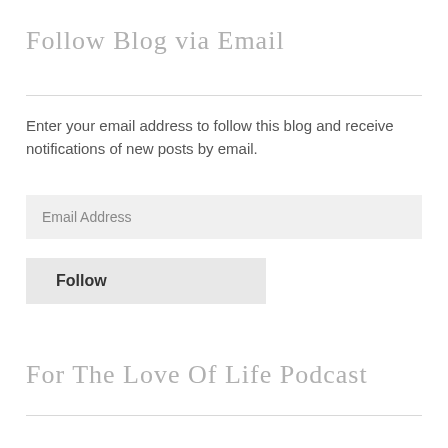Follow Blog via Email
Enter your email address to follow this blog and receive notifications of new posts by email.
Email Address
Follow
For The Love Of Life Podcast